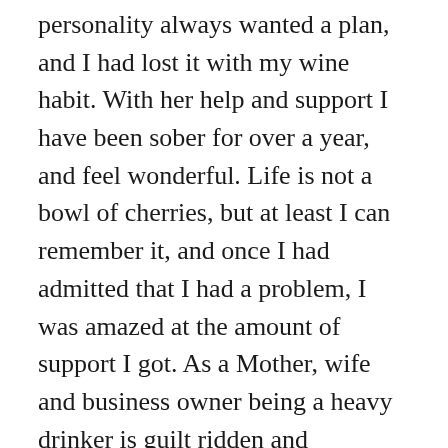personality always wanted a plan, and I had lost it with my wine habit. With her help and support I have been sober for over a year, and feel wonderful. Life is not a bowl of cherries, but at least I can remember it, and once I had admitted that I had a problem, I was amazed at the amount of support I got. As a Mother, wife and business owner being a heavy drinker is guilt ridden and frightening, and I do miss somehow the ritual of it, and delusions of having a cosy evening with a glass of wine on an Autumn evening in front of the log fire but now have the tools to counter any kind of temptation, addressing what was happening behind the scenes with me rather than only talking about my drinking was life changing. Another bonus is that I have more than